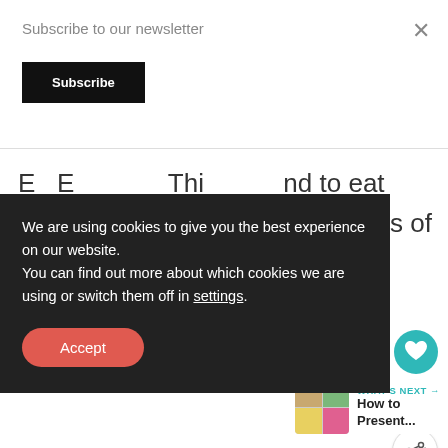Subscribe to our newsletter
Subscribe
×
nd to eat
cious of
We are using cookies to give you the best experience on our website.
You can find out more about which cookies we are using or switch them off in settings.
Accept
1
WHAT'S NEXT →
How to Present...